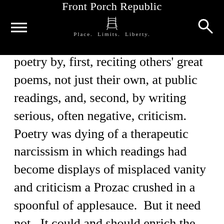Front Porch Republic — Place. Limits. Liberty.
poetry by, first, reciting others' great poems, not just their own, at public readings, and, second, by writing serious, often negative, criticism.  Poetry was dying of a therapeutic narcissism in which readings had become displays of misplaced vanity and criticism a Prozac crushed in a spoonful of applesauce.  But it need not.  It could and should enrich the lives of the entire country.

Appointed Chairman of the National Endowment for the Arts in 2003, Gioia took his own advice and developed several successful programs to bring literature out of the professional coterie and into the public auditorium, sponsoring